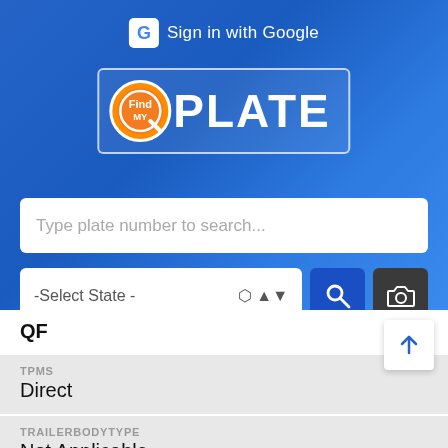[Figure (screenshot): FindMyPlate app screenshot showing Google Sign-in button, FindPlate logo, search bar with 'Type plate number to search...' placeholder, state selector dropdown, search button, and camera button on a blue background]
QF
TPMS
Direct
TRAILERBODYTYPE
Not Applicable
TRAILERTYPE
Not Applicable